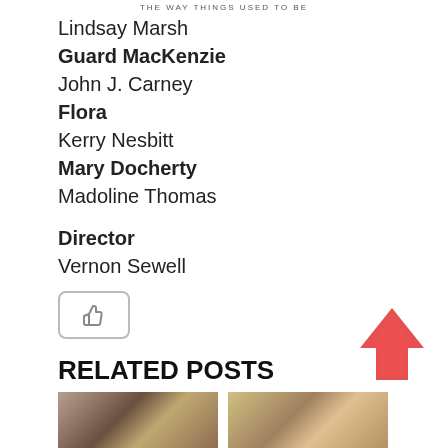THE WAY THINGS USED TO BE
Lindsay Marsh
Guard MacKenzie
John J. Carney
Flora
Kerry Nesbitt
Mary Docherty
Madoline Thomas
Director
Vernon Sewell
[Figure (other): Like/thumbs-up button]
RELATED POSTS
[Figure (photo): Two photos of people — related posts thumbnails]